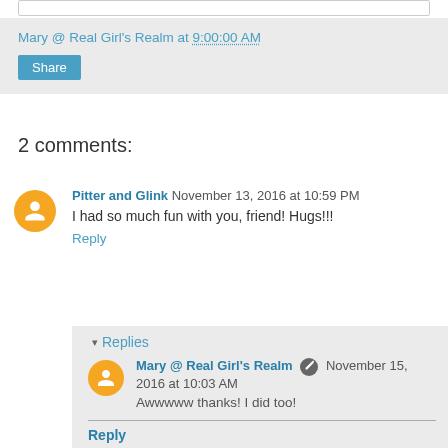Mary @ Real Girl's Realm at 9:00:00 AM
Share
2 comments:
Pitter and Glink  November 13, 2016 at 10:59 PM
I had so much fun with you, friend! Hugs!!!
Reply
Replies
Mary @ Real Girl's Realm  November 15, 2016 at 10:03 AM
Awwwww thanks! I did too!
Reply